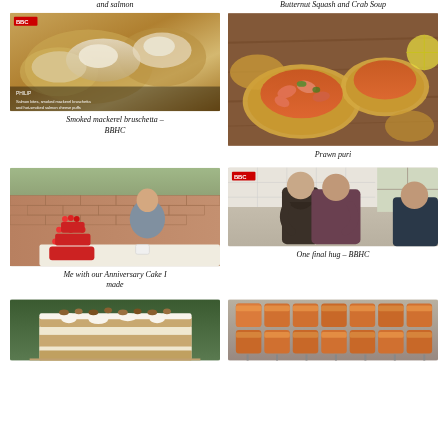and salmon
Butternut Squash and Crab Soup
[Figure (photo): Close-up of smoked mackerel bruschetta on a plate, BBC logo visible, with Philip caption overlay]
[Figure (photo): Prawn puri - spiced prawns on flatbreads on a wooden board]
Smoked mackerel bruschetta – BBHC
Prawn puri
[Figure (photo): Man sitting with a red berry anniversary cake in a garden, brick wall behind]
[Figure (photo): Two people hugging in a kitchen, BBC logo visible - BBHC]
Me with our Anniversary Cake I made
One final hug – BBHC
[Figure (photo): Sliced layered cake with white icing on a board outdoors with trees]
[Figure (photo): Rows of orange/glazed pastries or rolls on a tray]